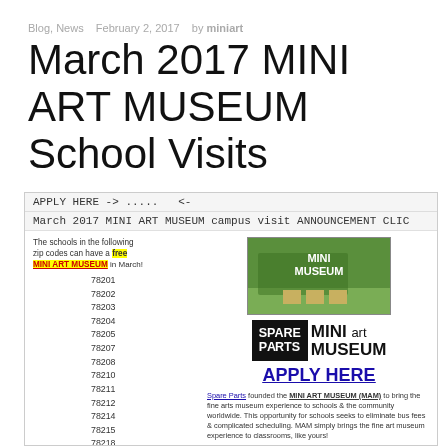Blog, News   February 2, 2017   by miniart
March 2017 MINI ART MUSEUM School Visits
[Figure (screenshot): Screenshot of a webpage showing an application portal for March 2017 MINI ART MUSEUM campus visits. Contains zip codes list (78201-78218), an image of the Mini Museum, the Spare Parts Mini Art Museum logo, an APPLY HERE link, and descriptive text about the program.]